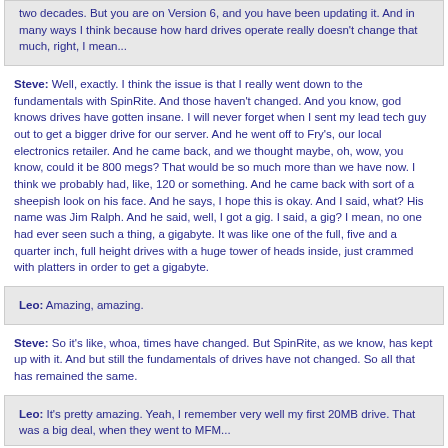two decades. But you are on Version 6, and you have been updating it. And in many ways I think because how hard drives operate really doesn't change that much, right, I mean...
Steve: Well, exactly. I think the issue is that I really went down to the fundamentals with SpinRite. And those haven't changed. And you know, god knows drives have gotten insane. I will never forget when I sent my lead tech guy out to get a bigger drive for our server. And he went off to Fry's, our local electronics retailer. And he came back, and we thought maybe, oh, wow, you know, could it be 800 megs? That would be so much more than we have now. I think we probably had, like, 120 or something. And he came back with sort of a sheepish look on his face. And he says, I hope this is okay. And I said, what? His name was Jim Ralph. And he said, well, I got a gig. I said, a gig? I mean, no one had ever seen such a thing, a gigabyte. It was like one of the full, five and a quarter inch, full height drives with a huge tower of heads inside, just crammed with platters in order to get a gigabyte.
Leo: Amazing, amazing.
Steve: So it's like, whoa, times have changed. But SpinRite, as we know, has kept up with it. And but still the fundamentals of drives have not changed. So all that has remained the same.
Leo: It's pretty amazing. Yeah, I remember very well my first 20MB drive. That was a big deal, when they went to MFM...